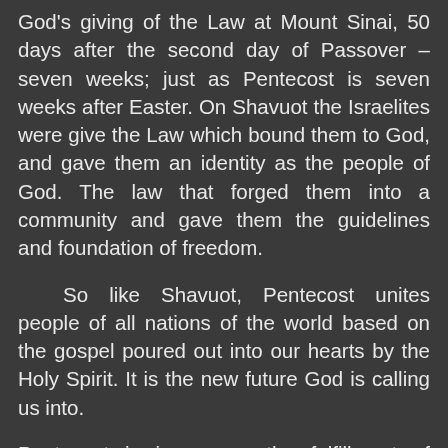God's giving of the Law at Mount Sinai, 50 days after the second day of Passover – seven weeks; just as Pentecost is seven weeks after Easter. On Shavuot the Israelites were give the Law which bound them to God, and gave them an identity as the people of God. The law that forged them into a community and gave them the guidelines and foundation of freedom.
So like Shavuot, Pentecost unites people of all nations of the world based on the gospel poured out into our hearts by the Holy Spirit. It is the new future God is calling us into.
Pentecost is in a way the fulfillment of Shavuot it moves it into the future. For on Pentecost there was the outpouring of the Holy Spirit, as tongues of fire which alighted upon the followers of Jesus. People found themselves emboldened